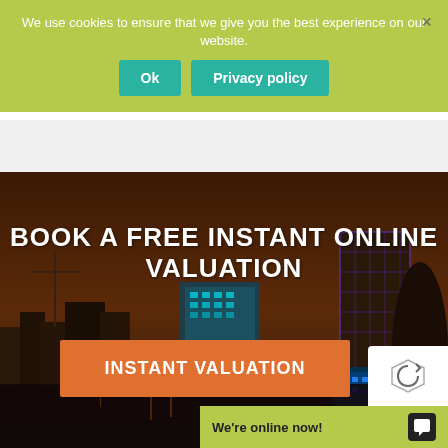We use cookies to ensure that we give you the best experience on our website.
Ok
Privacy policy
[Figure (screenshot): City skyline at night with illuminated buildings, dark sky and reflections on water]
BOOK A FREE INSTANT ONLINE VALUATION
INSTANT VALUATION
We're online now!